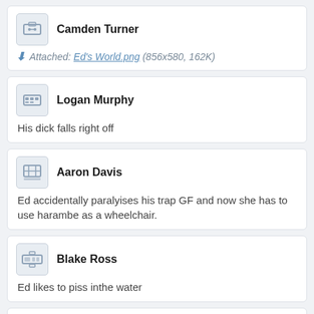Camden Turner
Attached: Ed's World.png (856x580, 162K)
Logan Murphy
His dick falls right off
Aaron Davis
Ed accidentally paralyises his trap GF and now she has to use harambe as a wheelchair.
Blake Ross
Ed likes to piss inthe water
Nathan Gutierrez